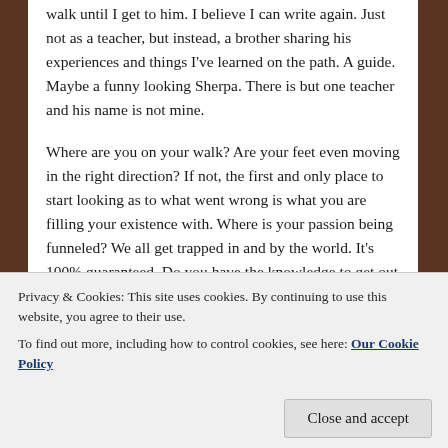walk until I get to him. I believe I can write again. Just not as a teacher, but instead, a brother sharing his experiences and things I've learned on the path. A guide. Maybe a funny looking Sherpa. There is but one teacher and his name is not mine.
Where are you on your walk? Are your feet even moving in the right direction? If not, the first and only place to start looking as to what went wrong is what you are filling your existence with. Where is your passion being funneled? We all get trapped in and by the world. It's 100% guaranteed. Do you have the knowledge to get out of the traps? Has the staff pulled you out of those deep holes? You know whom
Privacy & Cookies: This site uses cookies. By continuing to use this website, you agree to their use.
To find out more, including how to control cookies, see here: Our Cookie Policy
Close and accept